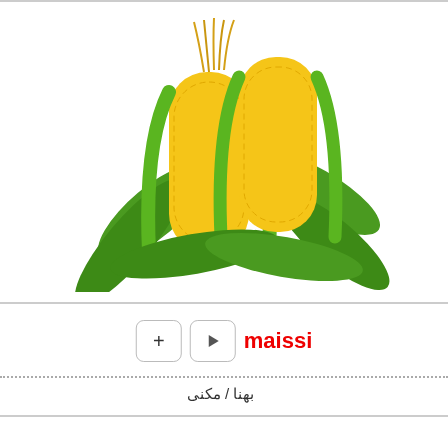[Figure (photo): Photo of corn ears with green husks inside a rounded rectangle card]
+ ▶ maissi
بهنا / مكنى
[Figure (photo): Photo of a green cucumber inside a rounded rectangle card]